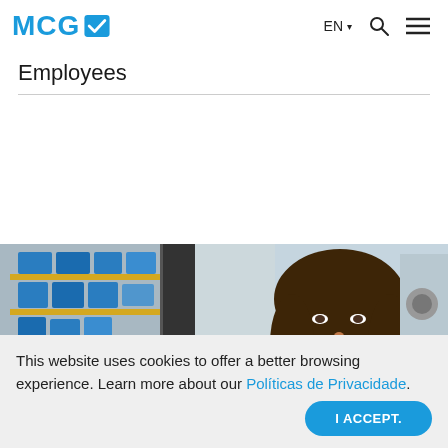MCG [logo] EN ▼ 🔍 ☰
Employees
[Figure (photo): A woman with curly brown hair wearing a dark blue jacket and a blue scarf, smiling at the camera in what appears to be a warehouse or industrial setting with blue storage shelving visible in the background.]
This website uses cookies to offer a better browsing experience. Learn more about our Políticas de Privacidade.